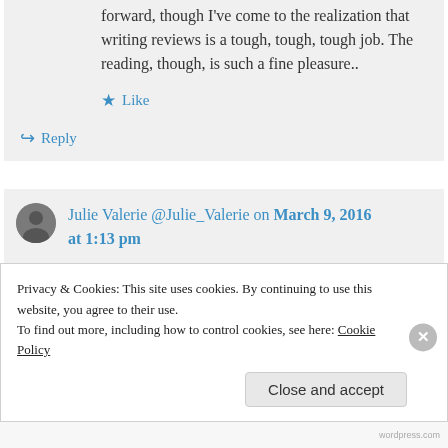forward, though I've come to the realization that writing reviews is a tough, tough, tough job. The reading, though, is such a fine pleasure..
★ Like
↳ Reply
Julie Valerie @Julie_Valerie on March 9, 2016 at 1:13 pm
Privacy & Cookies: This site uses cookies. By continuing to use this website, you agree to their use.
To find out more, including how to control cookies, see here: Cookie Policy
Close and accept